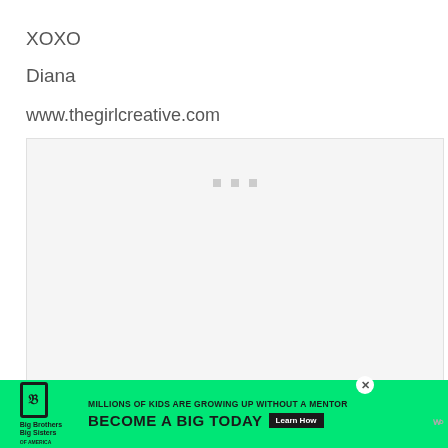XOXO
Diana
www.thegirlcreative.com
[Figure (other): Large light gray placeholder image area with three small gray square dots near the top center]
[Figure (other): Circular share/add button with share icon]
[Figure (other): What's Next panel showing thumbnail of furniture and text: FREE SVG Cut Files for Cri...]
[Figure (other): Advertisement banner: Big Brothers Big Sisters - MILLIONS OF KIDS ARE GROWING UP WITHOUT A MENTOR. BECOME A BIG TODAY. Learn How.]